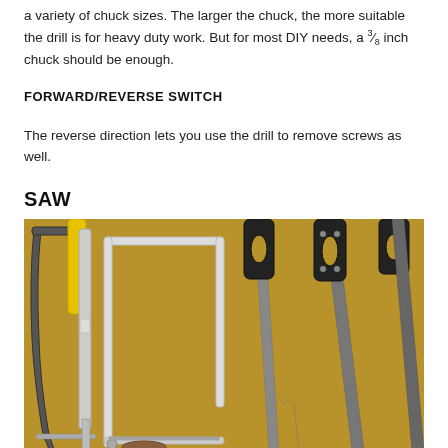a variety of chuck sizes. The larger the chuck, the more suitable the drill is for heavy duty work. But for most DIY needs, a ⅜ inch chuck should be enough.
FORWARD/REVERSE SWITCH
The reverse direction lets you use the drill to remove screws as well.
SAW
[Figure (photo): Photograph of multiple saws laid on a surface: a hacksaw with a yellow handle, a bow-style hacksaw with a white frame, and two hand saws with black handles.]